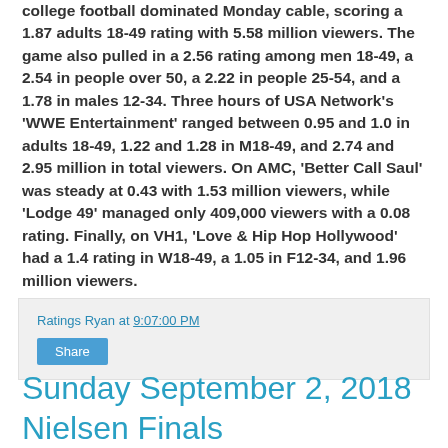college football dominated Monday cable, scoring a 1.87 adults 18-49 rating with 5.58 million viewers. The game also pulled in a 2.56 rating among men 18-49, a 2.54 in people over 50, a 2.22 in people 25-54, and a 1.78 in males 12-34. Three hours of USA Network's 'WWE Entertainment' ranged between 0.95 and 1.0 in adults 18-49, 1.22 and 1.28 in M18-49, and 2.74 and 2.95 million in total viewers. On AMC, 'Better Call Saul' was steady at 0.43 with 1.53 million viewers, while 'Lodge 49' managed only 409,000 viewers with a 0.08 rating. Finally, on VH1, 'Love & Hip Hop Hollywood' had a 1.4 rating in W18-49, a 1.05 in F12-34, and 1.96 million viewers.
Ratings Ryan at 9:07:00 PM
Share
Sunday September 2, 2018 Nielsen Finals